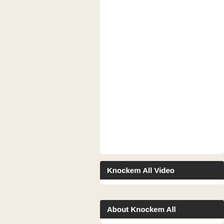Knockem All Video
About Knockem All